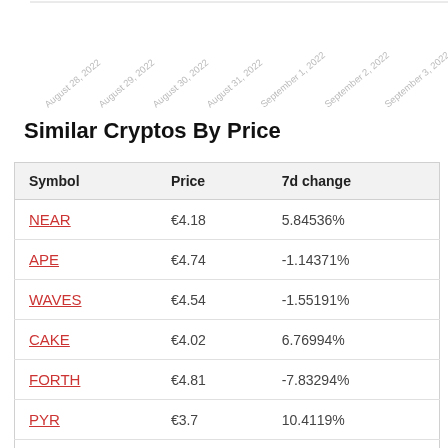[Figure (other): Partial chart showing rotated date axis labels: August 28, 2022 through September 3, 2022]
Similar Cryptos By Price
| Symbol | Price | 7d change |
| --- | --- | --- |
| NEAR | €4.18 | 5.84536% |
| APE | €4.74 | -1.14371% |
| WAVES | €4.54 | -1.55191% |
| CAKE | €4.02 | 6.76994% |
| FORTH | €4.81 | -7.83294% |
| PYR | €3.7 | 10.4119% |
| HNT-2 | €4.51 | -24.2736% |